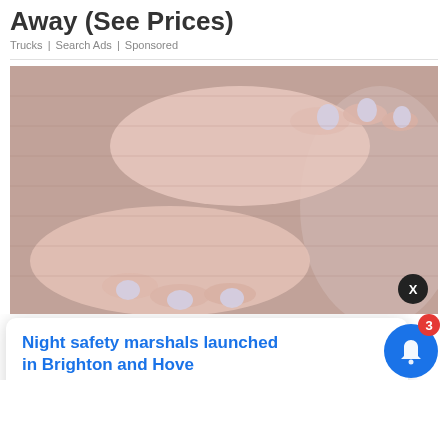Away (See Prices)
Trucks | Search Ads | Sponsored
[Figure (photo): Close-up photo of a person wearing a mauve/pink ribbed top, with two hands with light purple/white painted nails cupping their stomach/chest area. Background is neutral grey.]
er (Write This
Night safety marshals launched in Brighton and Hove
2 hours ago